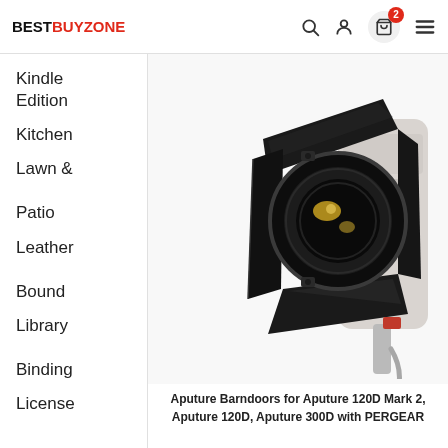BESTBUYZONE
Kindle Edition
Kitchen
Lawn & Patio
Leather Bound
Library Binding
License
[Figure (photo): Aputure Barndoors accessory attached to a studio LED light, showing 4-leaf black metal barn door attachment with round lens opening, alongside the light body.]
Aputure Barndoors for Aputure 120D Mark 2, Aputure 120D, Aputure 300D with PERGEAR